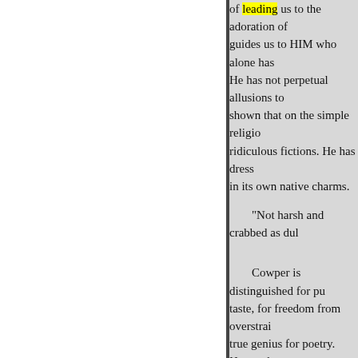of leading us to the adoration of guides us to HIM who alone has He has not perpetual allusions to shown that on the simple religio ridiculous fictions. He has dress in its own native charms.
"Not harsh and crabbed as dul
Cowper is distinguished for pu taste, for freedom from overstrai true genius for poetry. How valu of the present day, and a review vain, for the Christian religion, d Rome wove their religion into th own religion? But very few Engl remarkably. Milton, Young, and English poets; and their genius, i religion.
Here to devotion's bard dev Pay your fond tribute due to England, exulting in his spo